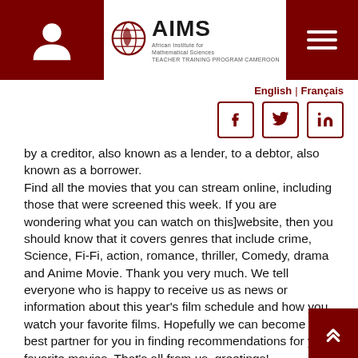AIMS – African Institute for Mathematical Sciences – Teacher Training Program Cameroon
English | Français
by a creditor, also known as a lender, to a debtor, also known as a borrower.
Find all the movies that you can stream online, including those that were screened this week. If you are wondering what you can watch on this]website, then you should know that it covers genres that include crime, Science, Fi-Fi, action, romance, thriller, Comedy, drama and Anime Movie. Thank you very much. We tell everyone who is happy to receive us as news or information about this year's film schedule and how you watch your favorite films. Hopefully we can become the best partner for you in finding recommendations for your favorite movies. That's all from us, greetings!
? Watch John and the Hole Online 4k Quality
? Watch John and the Hole StreamiNG HD video
? John and the Hole Full-Movies
? John and the Hole Movie Rele…